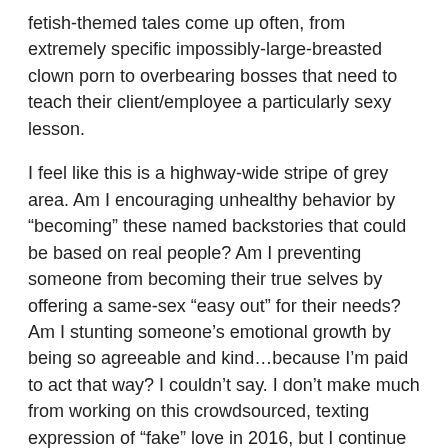fetish-themed tales come up often, from extremely specific impossibly-large-breasted clown porn to overbearing bosses that need to teach their client/employee a particularly sexy lesson.
I feel like this is a highway-wide stripe of grey area. Am I encouraging unhealthy behavior by “becoming” these named backstories that could be based on real people? Am I preventing someone from becoming their true selves by offering a same-sex “easy out” for their needs? Am I stunting someone’s emotional growth by being so agreeable and kind…because I’m paid to act that way? I couldn’t say. I don’t make much from working on this crowdsourced, texting expression of “fake” love in 2016, but I continue to do it for the right to peek in at the weird world of the heart-driven, tech-wired unconscious.